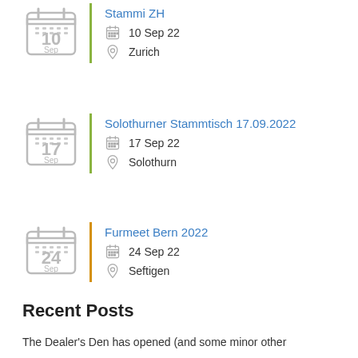Stammi ZH — 10 Sep 22 — Zurich
Solothurner Stammtisch 17.09.2022 — 17 Sep 22 — Solothurn
Furmeet Bern 2022 — 24 Sep 22 — Seftigen
Recent Posts
The Dealer's Den has opened (and some minor other